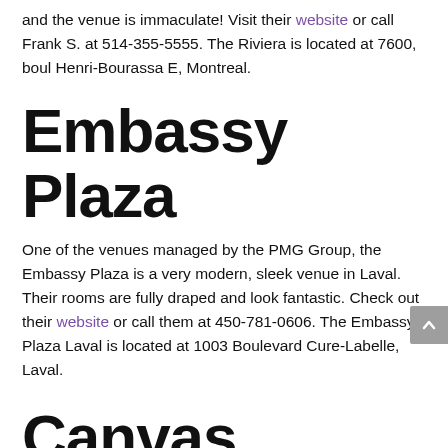and the venue is immaculate! Visit their website or call Frank S. at 514-355-5555. The Riviera is located at 7600, boul Henri-Bourassa E, Montreal.
Embassy Plaza
One of the venues managed by the PMG Group, the Embassy Plaza is a very modern, sleek venue in Laval. Their rooms are fully draped and look fantastic. Check out their website or call them at 450-781-0606. The Embassy Plaza Laval is located at 1003 Boulevard Cure-Labelle, Laval.
Canvas